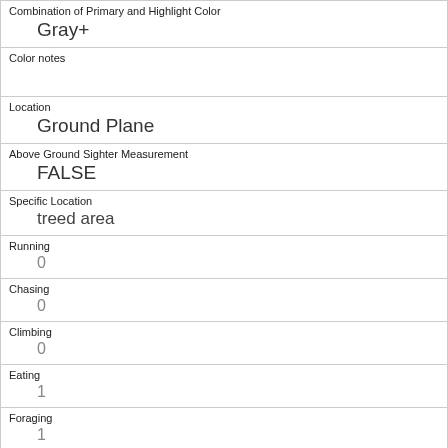| Combination of Primary and Highlight Color | Gray+ |
| Color notes |  |
| Location | Ground Plane |
| Above Ground Sighter Measurement | FALSE |
| Specific Location | treed area |
| Running | 0 |
| Chasing | 0 |
| Climbing | 0 |
| Eating | 1 |
| Foraging | 1 |
| Other Activities |  |